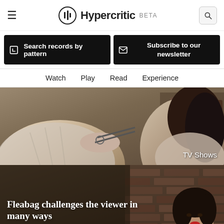Hypercritic BETA
Search records by pattern
Subscribe to our newsletter
Watch  Play  Read  Experience
[Figure (photo): Two people in a kitchen scene, one appears to be cutting or styling the other's hair with scissors]
TV Shows
Fleabag challenges the viewer in many ways
Phoebe Waller-Bridge